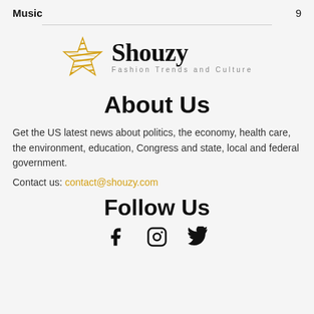Music   9
[Figure (logo): Shouzy star logo with text 'Shouzy' and tagline 'Fashion Trends and Culture']
About Us
Get the US latest news about politics, the economy, health care, the environment, education, Congress and state, local and federal government.
Contact us: contact@shouzy.com
Follow Us
[Figure (illustration): Social media icons: Facebook, Instagram, Twitter]